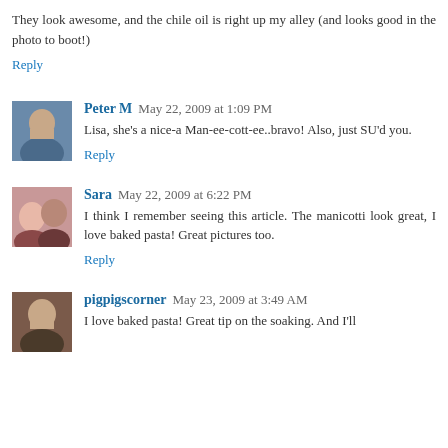They look awesome, and the chile oil is right up my alley (and looks good in the photo to boot!)
Reply
[Figure (photo): Avatar photo of Peter M, a man in a blue shirt]
Peter M May 22, 2009 at 1:09 PM
Lisa, she's a nice-a Man-ee-cott-ee..bravo! Also, just SU'd you.
Reply
[Figure (photo): Avatar photo of Sara, a woman with a man]
Sara May 22, 2009 at 6:22 PM
I think I remember seeing this article. The manicotti look great, I love baked pasta! Great pictures too.
Reply
[Figure (photo): Avatar photo of pigpigscorner]
pigpigscorner May 23, 2009 at 3:49 AM
I love baked pasta! Great tip on the soaking. And I'll